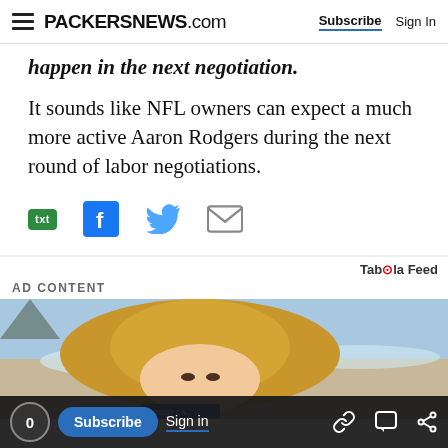PACKERSNEWS.com | Subscribe | Sign In
happen in the next negotiation.
It sounds like NFL owners can expect a much more active Aaron Rodgers during the next round of labor negotiations.
[Figure (infographic): Social sharing icons: txt (SMS), Facebook, Twitter, Email]
[Figure (infographic): Taboola Feed | AD CONTENT label followed by a photo of a woman in a hat at the beach]
[Figure (infographic): Bottom navigation bar with 0 count bubble, Subscribe button, Sign in button, link icon, comment icon, share icon]